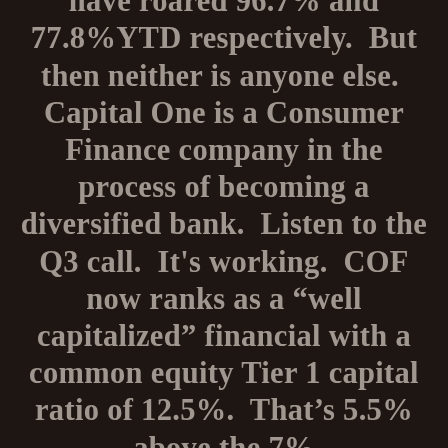have roared 96.7% and 77.8%YTD respectively.  But then neither is anyone else.  Capital One is a Consumer Finance company in the process of becoming a diversified bank.  Listen to the Q3 call.  It's working.  COF now ranks as a “well capitalized” financial with a common equity Tier 1 capital ratio of 12.5%.  That’s 5.5% above the 7%